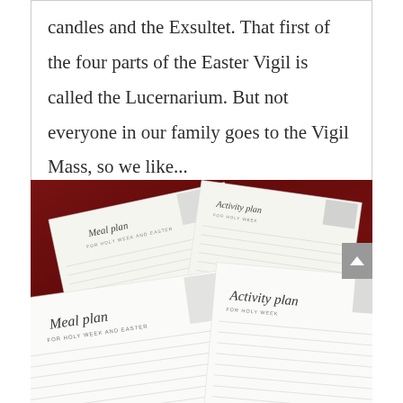candles and the Exsultet. That first of the four parts of the Easter Vigil is called the Lucernarium. But not everyone in our family goes to the Vigil Mass, so we like...
[Figure (photo): Photo of printed 'Meal plan' and 'Activity plan' documents for Holy Week and Easter, arranged on a dark red wooden surface. The documents show planning sheets with text and small illustrations.]